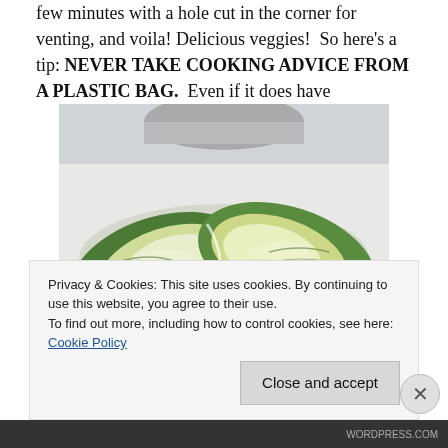few minutes with a hole cut in the corner for venting, and voila! Delicious veggies!  So here's a tip: NEVER TAKE COOKING ADVICE FROM A PLASTIC BAG.  Even if it does have
[Figure (photo): Photo of a head of cabbage or Brussels sprout cut in half, showing the green outer leaves and pale yellow-white interior, placed on a white surface with a bowl in the background.]
Privacy & Cookies: This site uses cookies. By continuing to use this website, you agree to their use.
To find out more, including how to control cookies, see here: Cookie Policy
Close and accept